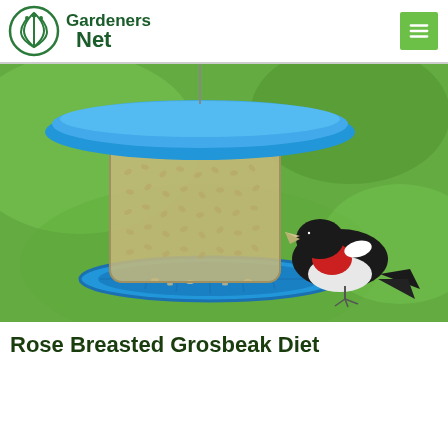Gardeners Net
[Figure (photo): A Rose Breasted Grosbeak bird perched on the rim of a blue cylindrical bird feeder filled with sunflower seeds, set against a green grassy background.]
Rose Breasted Grosbeak Diet